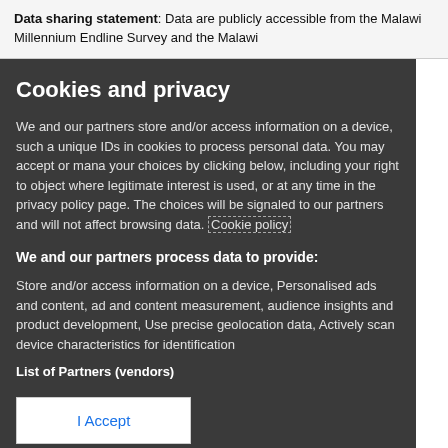Data sharing statement: Data are publicly accessible from the Malawi Millennium Endline Survey and the Malawi
Cookies and privacy
We and our partners store and/or access information on a device, such as unique IDs in cookies to process personal data. You may accept or manage your choices by clicking below, including your right to object where legitimate interest is used, or at any time in the privacy policy page. These choices will be signaled to our partners and will not affect browsing data. Cookie policy
We and our partners process data to provide:
Store and/or access information on a device, Personalised ads and content, ad and content measurement, audience insights and product development, Use precise geolocation data, Actively scan device characteristics for identification
List of Partners (vendors)
I Accept